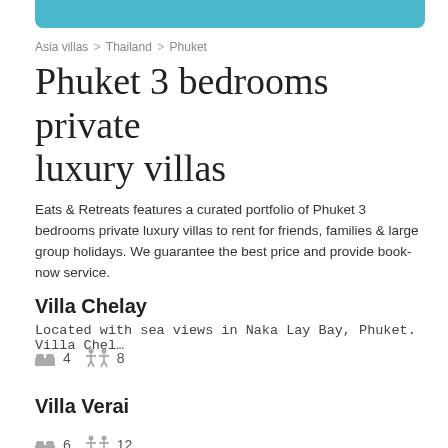[Figure (other): Teal/cyan decorative banner bar at the top of the page]
Asia villas  >  Thailand  >  Phuket
Phuket 3 bedrooms private luxury villas
Eats & Retreats features a curated portfolio of Phuket 3 bedrooms private luxury villas to rent for friends, families & large group holidays. We guarantee the best price and provide book-now service.
Villa Chelay
Located with sea views in Naka Lay Bay, Phuket. Villa Chel…
🛏 4  👥 8
Villa Verai
Located on the beach in Cape Yamu, Phuket. Villa Verai is …
🛏 6  👥 12